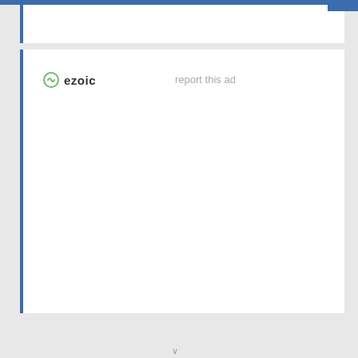[Figure (screenshot): Ezoic advertisement placeholder with ezoic logo and 'report this ad' link on white background with blue left border]
ezoic
report this ad